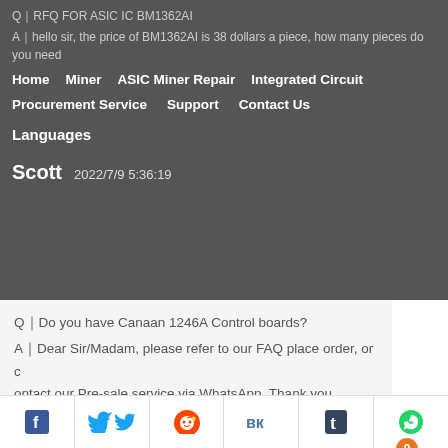Q｜RFQ FOR ASIC IC BM1362AI
A｜hello sir, the price of BM1362AI is 38 dollars a piece, how many pieces do you need
Home | Miner | ASIC Miner Repair | Integrated Circuit | Procurement Service | Support | Contact Us
Languages
Scott   2022/7/9 5:36:19
Q｜Do you have Canaan 1246A Control boards?
A｜Dear Sir/Madam, please refer to our FAQ place order, or contact our Pre-sale service via WhatsApp. Thank you.
https://www.zeusbtc.com/FAQ.asp
Yves Djiki   2022/7/9 2:12:41
Q｜I have an issue with my avalon miner 1166 pro.
can you help me fix it ?
A｜Dear Sir/Madam, please refer to our FAQ place order, or c
[Figure (infographic): Social share bar with Facebook, Twitter, Reddit, VK, Tumblr, WhatsApp icons]